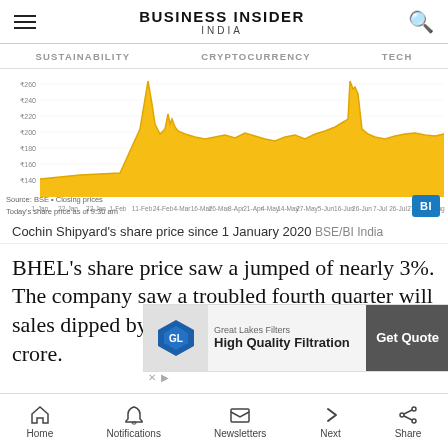BUSINESS INSIDER INDIA
SUSTAINABILITY   CRYPTOCURRENCY   TECH
[Figure (area-chart): Area chart showing Cochin Shipyard share price from 1-Jan to 5-Aug, with price range approximately ₹100 to ₹260, plotted in golden/amber color fill. Source: BSE, Closing prices. Today's share price as of 9:30 am.]
Cochin Shipyard's share price since 1 January 2020  BSE/BI India
BHEL's share price saw a jumped of nearly 3%. The company saw a troubled fourth quarter will sales dipped by 54% and a net loss of ₹1,522 crore.